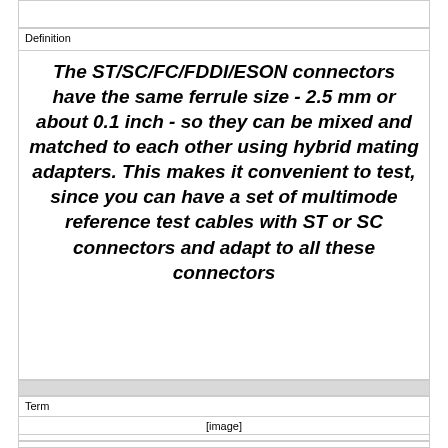Definition
The ST/SC/FC/FDDI/ESON connectors have the same ferrule size - 2.5 mm or about 0.1 inch - so they can be mixed and matched to each other using hybrid mating adapters. This makes it convenient to test, since you can have a set of multimode reference test cables with ST or SC connectors and adapt to all these connectors
Term
[Figure (photo): [image]]